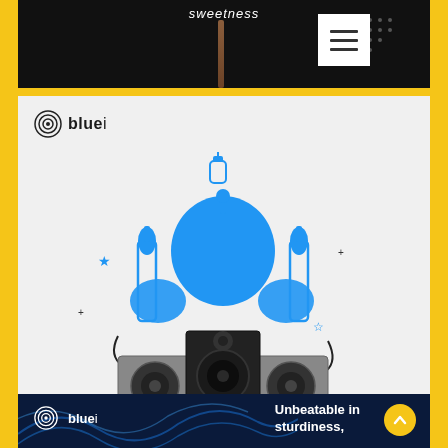sweetness
[Figure (screenshot): Dark header section with 'sweetness' text, a vertical wooden stick/rod, dotted pattern, and a white hamburger menu button]
[Figure (illustration): Bluei brand Eid Mubarak card with mosque illustration (blue domes, minarets) combined with a surround sound speaker system, on light grey background. 'EID MUBARAK' text in blue at bottom.]
[Figure (screenshot): Bluei brand dark blue footer section with logo, wavy blue lines decoration, and text 'Unbeatable in sturdiness,' with yellow circular up-arrow button]